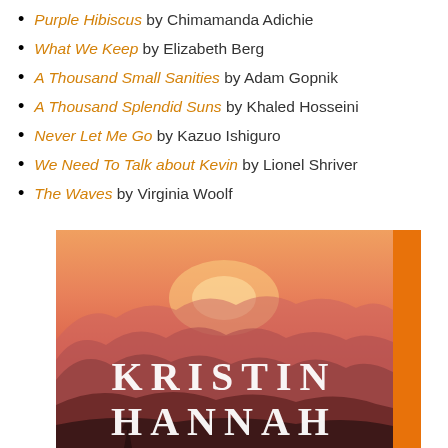Purple Hibiscus by Chimamanda Adichie
What We Keep by Elizabeth Berg
A Thousand Small Sanities by Adam Gopnik
A Thousand Splendid Suns by Khaled Hosseini
Never Let Me Go by Kazuo Ishiguro
We Need To Talk about Kevin by Lionel Shriver
The Waves by Virginia Woolf
[Figure (illustration): Book cover of a Kristin Hannah novel showing mountain silhouettes in shades of pink and purple under an orange-pink sunset sky, with the author name KRISTIN HANNAH in large white serif letters. An orange vertical bar appears on the right edge.]